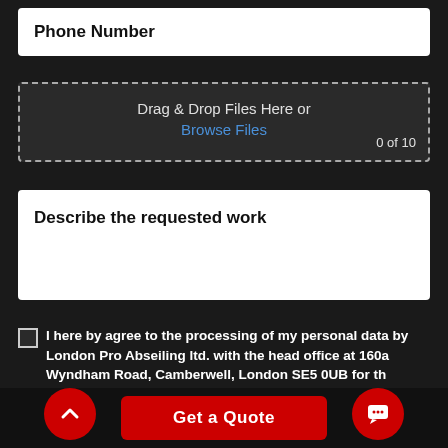Phone Number
[Figure (other): Drag & Drop Files Here or Browse Files upload zone with '0 of 10' indicator]
Describe the requested work
I here by agree to the processing of my personal data by London Pro Abseiling ltd. with the head office at 160a Wyndham Road, Camberwell, London SE5 0UB for the purpose of receiving a reply. I have the right to acc...
Get a Quote